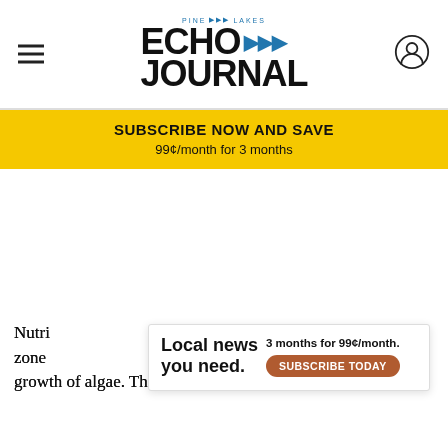Pine Lakes Echo Journal
SUBSCRIBE NOW AND SAVE
99¢/month for 3 months
Nutrients flowing downstream have created a dead zone growth of algae. The algae's decomposition uses up
[Figure (other): Local news promotional overlay: 'Local news you need. 3 months for 99¢/month. SUBSCRIBE TODAY']